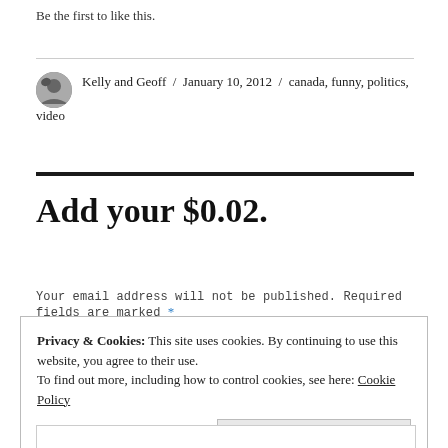Be the first to like this.
Kelly and Geoff / January 10, 2012 / canada, funny, politics, video
Add your $0.02.
Your email address will not be published. Required fields are marked *
Privacy & Cookies: This site uses cookies. By continuing to use this website, you agree to their use.
To find out more, including how to control cookies, see here: Cookie Policy
Close and accept